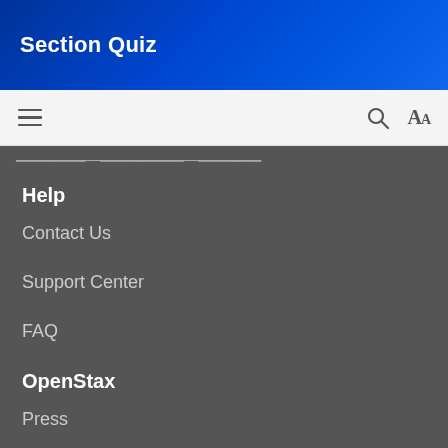Section Quiz
[Figure (screenshot): Toolbar with hamburger menu icon on left and search (magnifying glass) and font size (Aa) icons on right]
Help
Contact Us
Support Center
FAQ
OpenStax
Press